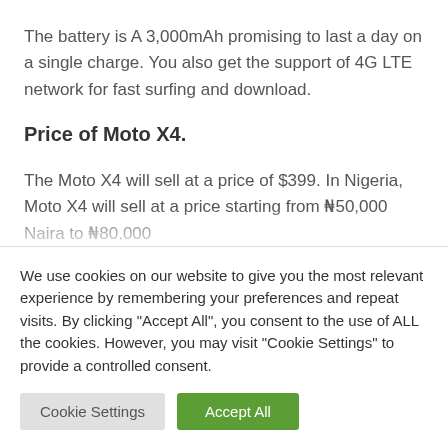The battery is A 3,000mAh promising to last a day on a single charge. You also get the support of 4G LTE network for fast surfing and download.
Price of Moto X4.
The Moto X4 will sell at a price of $399. In Nigeria, Moto X4 will sell at a price starting from ₦50,000 Naira to ₦80,000
We use cookies on our website to give you the most relevant experience by remembering your preferences and repeat visits. By clicking "Accept All", you consent to the use of ALL the cookies. However, you may visit "Cookie Settings" to provide a controlled consent.